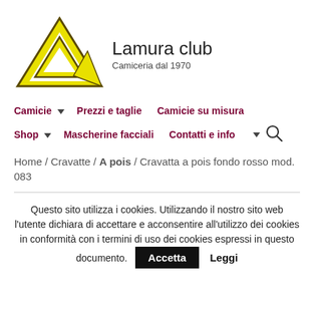[Figure (logo): Lamura club logo: yellow triangular arrow shape with dark outline, beside brand name text 'Lamura club' and subtitle 'Camiceria dal 1970']
Camicie ▼  Prezzi e taglie  Camicie su misura
Shop ▼  Mascherine facciali  Contatti e info ▼  🔍
Home / Cravatte / A pois / Cravatta a pois fondo rosso mod. 083
Questo sito utilizza i cookies. Utilizzando il nostro sito web l'utente dichiara di accettare e acconsentire all'utilizzo dei cookies in conformità con i termini di uso dei cookies espressi in questo documento.  Accetta  Leggi